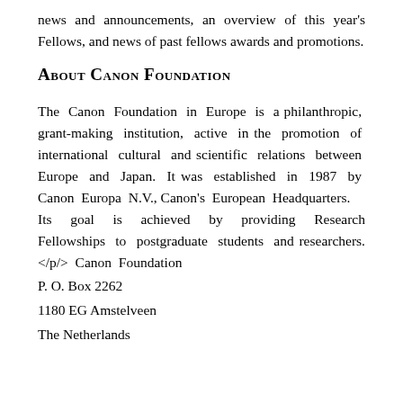news and announcements, an overview of this year's Fellows, and news of past fellows awards and promotions.
About Canon Foundation
The Canon Foundation in Europe is a philanthropic, grant-making institution, active in the promotion of international cultural and scientific relations between Europe and Japan. It was established in 1987 by Canon Europa N.V., Canon's European Headquarters.
Its goal is achieved by providing Research Fellowships to postgraduate students and researchers.</p/> Canon Foundation
P. O. Box 2262
1180 EG Amstelveen
The Netherlands